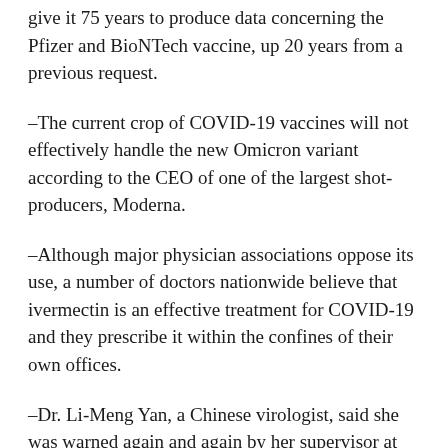give it 75 years to produce data concerning the Pfizer and BioNTech vaccine, up 20 years from a previous request.
–The current crop of COVID-19 vaccines will not effectively handle the new Omicron variant according to the CEO of one of the largest shot-producers, Moderna.
–Although major physician associations oppose its use, a number of doctors nationwide believe that ivermectin is an effective treatment for COVID-19 and they prescribe it within the confines of their own offices.
–Dr. Li-Meng Yan, a Chinese virologist, said she was warned again and again by her supervisor at the University of Hong Kong in early 2020 to be silent and not to cross a red line.
–TJX Companies (The parent company of Marshalls and